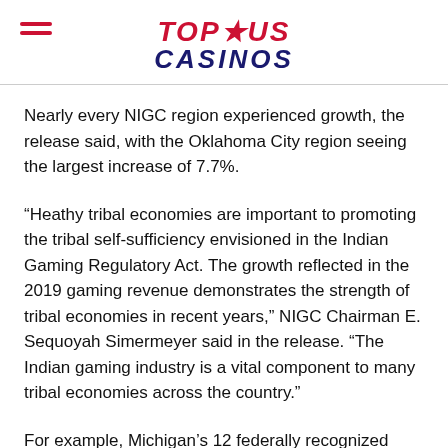TOP US CASINOS
Nearly every NIGC region experienced growth, the release said, with the Oklahoma City region seeing the largest increase of 7.7%.
“Heathy tribal economies are important to promoting the tribal self-sufficiency envisioned in the Indian Gaming Regulatory Act. The growth reflected in the 2019 gaming revenue demonstrates the strength of tribal economies in recent years,” NIGC Chairman E. Sequoyah Simermeyer said in the release. “The Indian gaming industry is a vital component to many tribal economies across the country.”
For example, Michigan’s 12 federally recognized tribes